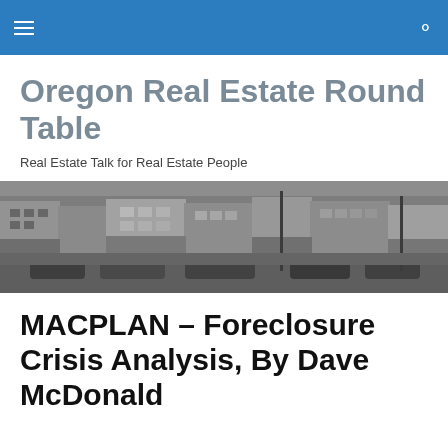Oregon Real Estate Round Table navigation bar
Oregon Real Estate Round Table
Real Estate Talk for Real Estate People
[Figure (photo): Black and white historical street scene showing storefronts along a commercial street with parked cars from the 1950s-60s era]
MACPLAN – Foreclosure Crisis Analysis, By Dave McDonald